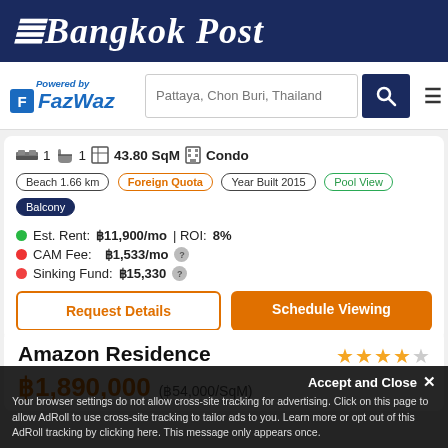Bangkok Post
[Figure (logo): FazWaz powered-by logo with search bar, search button, and menu icon]
1 bed | 1 bath | 43.80 SqM | Condo
Beach 1.66 km
Foreign Quota
Year Built 2015
Pool View
Balcony
Est. Rent: ฿11,900/mo | ROI: 8%
CAM Fee: ฿1,533/mo
Sinking Fund: ฿15,330
Request Details | Schedule Viewing
Amazon Residence
฿1,890,000 (฿54,000/SqM)
Accept and Close ✕
Your browser settings do not allow cross-site tracking for advertising. Click on this page to allow AdRoll to use cross-site tracking to tailor ads to you. Learn more or opt out of this AdRoll tracking by clicking here. This message only appears once.